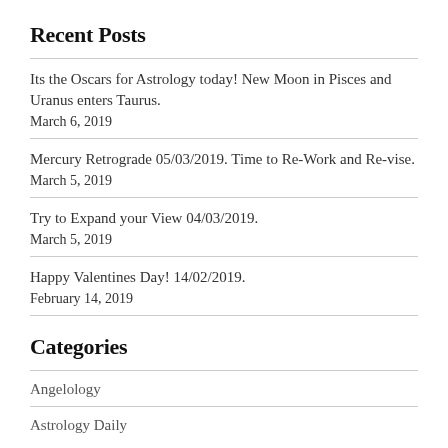Recent Posts
Its the Oscars for Astrology today! New Moon in Pisces and Uranus enters Taurus.
March 6, 2019
Mercury Retrograde 05/03/2019. Time to Re-Work and Revise.
March 5, 2019
Try to Expand your View 04/03/2019.
March 5, 2019
Happy Valentines Day! 14/02/2019.
February 14, 2019
Categories
Angelology
Astrology Daily